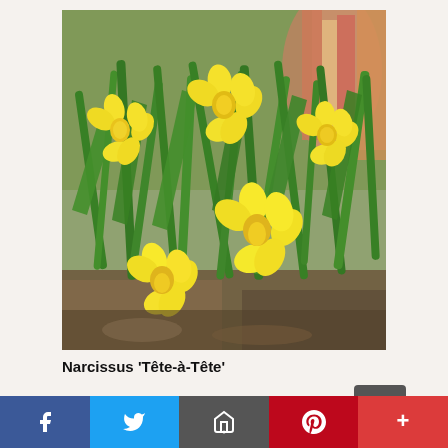[Figure (photo): Cluster of bright yellow Narcissus 'Tête-à-Tête' daffodil flowers with green leaves, photographed outdoors in a garden setting with sunlight.]
Narcissus 'Tête-à-Tête'
(Described partial text cut off at bottom)
Social sharing bar with Facebook, Twitter, Email, Pinterest, and More buttons